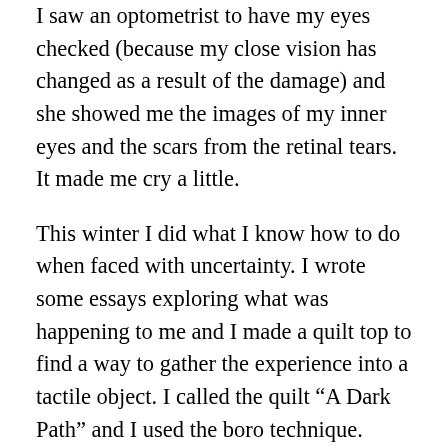I saw an optometrist to have my eyes checked (because my close vision has changed as a result of the damage) and she showed me the images of my inner eyes and the scars from the retinal tears. It made me cry a little.
This winter I did what I know how to do when faced with uncertainty. I wrote some essays exploring what was happening to me and I made a quilt top to find a way to gather the experience into a tactile object. I called the quilt “A Dark Path” and I used the boro technique. Boro means something like tattered, repaired. It’s usually structural stitching, meaning that the intention is not to make something beautiful in itself (think of fine embroidery) but to extend the life of scraps of fabric, to use